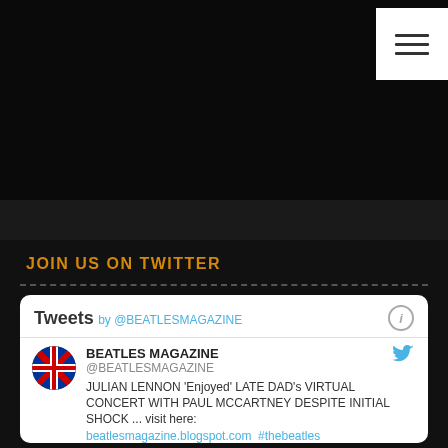[Figure (screenshot): Dark website header area with hamburger menu icon in top right corner on white background]
JOIN US ON TWITTER
[Figure (screenshot): Embedded Twitter widget showing Tweets by @BEATLESMAGAZINE. Tweet from BEATLES MAGAZINE @BEATLESMAGAZINE: JULIAN LENNON 'Enjoyed' LATE DAD's VIRTUAL CONCERT WITH PAUL MCCARTNEY DESPITE INITIAL SHOCK ... visit here: beatlesmagazine.blogspot.com #thebeatles]